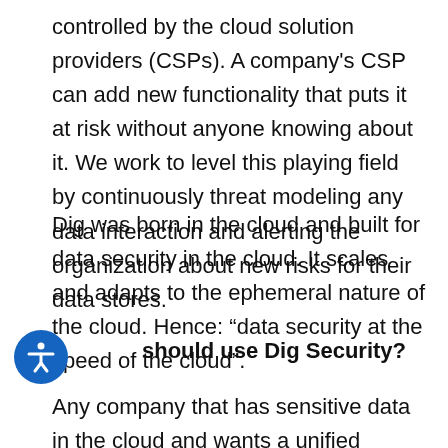controlled by the cloud solution providers (CSPs). A company's CSP can add new functionality that puts it at risk without anyone knowing about it. We work to level this playing field by continuously threat modeling any data interaction and alerting the organization about new risks for their data stores.
Dig was born in the cloud and built for data security in the cloud. It scales and adapts to the ephemeral nature of the cloud. Hence: “data security at the speed of the cloud”.
Who should use Dig Security?
Any company that has sensitive data in the cloud and wants a unified approach to data security across